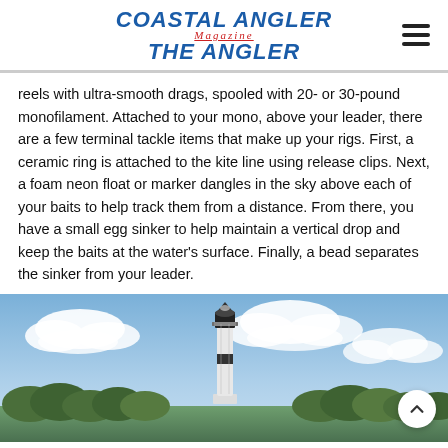COASTAL ANGLER Magazine THE ANGLER
reels with ultra-smooth drags, spooled with 20- or 30-pound monofilament. Attached to your mono, above your leader, there are a few terminal tackle items that make up your rigs. First, a ceramic ring is attached to the kite line using release clips. Next, a foam neon float or marker dangles in the sky above each of your baits to help track them from a distance. From there, you have a small egg sinker to help maintain a vertical drop and keep the baits at the water’s surface. Finally, a bead separates the sinker from your leader.
[Figure (photo): A lighthouse (appears to be Sanibel Island lighthouse) with a black top, white tower, surrounded by trees under a partly cloudy blue sky.]